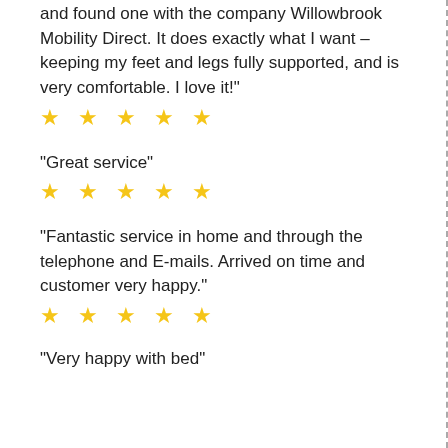and found one with the company Willowbrook Mobility Direct. It does exactly what I want – keeping my feet and legs fully supported, and is very comfortable. I love it!"
★ ★ ★ ★ ★
"Great service"
★ ★ ★ ★ ★
"Fantastic service in home and through the telephone and E-mails. Arrived on time and customer very happy."
★ ★ ★ ★ ★
"Very happy with bed"